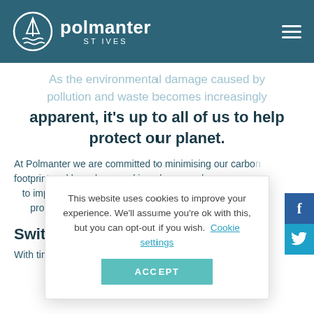polmanter ST IVES
As the environmental damage caused by pollution and waste becomes increasingly apparent, it's up to all of us to help protect our planet.
At Polmanter we are committed to minimising our carbon footprint and have been making changes wherever we can to improve our products
Switching t
With time, it is becoming increasingly easier to make more
This website uses cookies to improve your experience. We'll assume you're ok with this, but you can opt-out if you wish. Cookie settings ACCEPT